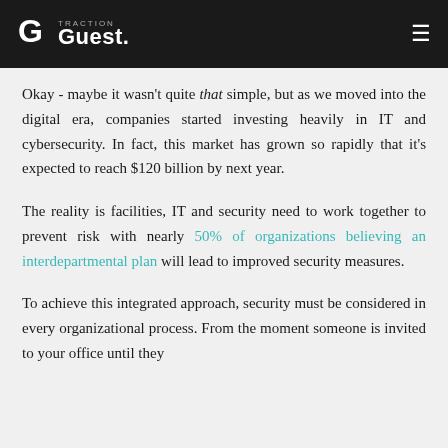Traction Guest logo and navigation
Okay - maybe it wasn't quite that simple, but as we moved into the digital era, companies started investing heavily in IT and cybersecurity. In fact, this market has grown so rapidly that it's expected to reach $120 billion by next year.
The reality is facilities, IT and security need to work together to prevent risk with nearly 50% of organizations believing an interdepartmental plan will lead to improved security measures.
To achieve this integrated approach, security must be considered in every organizational process. From the moment someone is invited to your office until they